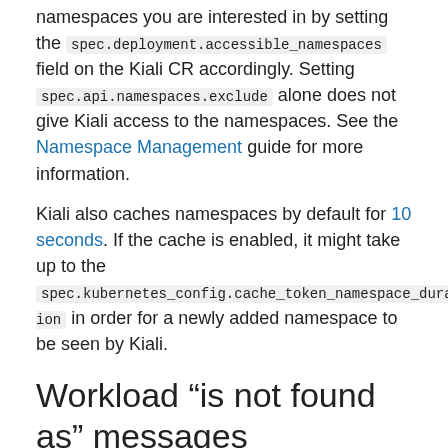namespaces you are interested in by setting the spec.deployment.accessible_namespaces field on the Kiali CR accordingly. Setting spec.api.namespaces.exclude alone does not give Kiali access to the namespaces. See the Namespace Management guide for more information.
Kiali also caches namespaces by default for 10 seconds. If the cache is enabled, it might take up to the spec.kubernetes_config.cache_token_namespace_duration in order for a newly added namespace to be seen by Kiali.
Workload “is not found as” messages
Kiali queries Deployment ,ReplicaSet, ReplicationController, DeploymentConfig, StatefulSet, Job and CronJob controllers. Deployment, ReplicaSet and StatefulSet are always queried, but ReplicationController